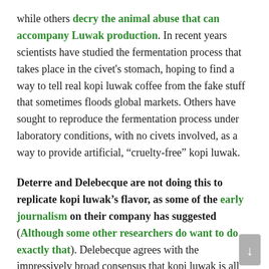while others decry the animal abuse that can accompany Luwak production. In recent years scientists have studied the fermentation process that takes place in the civet's stomach, hoping to find a way to tell real kopi luwak coffee from the fake stuff that sometimes floods global markets. Others have sought to reproduce the fermentation process under laboratory conditions, with no civets involved, as a way to provide artificial, “cruelty-free” kopi luwak.
Deterre and Delebecque are not doing this to replicate kopi luwak’s flavor, as some of the early journalism on their company has suggested (Although some other researchers do want to do exactly that). Delebecque agrees with the impressively broad consensus that kopi luwak is all story, no flavor. Instead Delebecque and Deterre are interested in what other flavors fermentation might be able to produce in coffee, and then in extending the same techniques to other foods. He doesn’t expect every